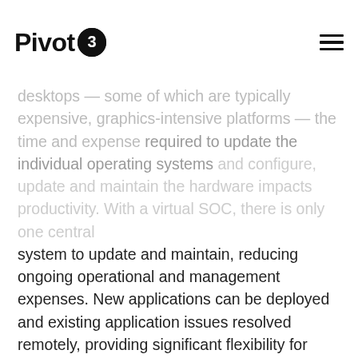Pivot3
desktops — some of which are typically expensive, graphics-intensive platforms — the time and expense required to update the individual operating systems and configure, update and maintain the hardware impacts productivity. With a virtual SOC, there is only one central system to update and maintain, reducing ongoing operational and management expenses. New applications can be deployed and existing application issues resolved remotely, providing significant flexibility for situations when the administrator can't reach the SOC or is traveling.
Eliminate Downtime
A virtual SOC architecture is also more resilient and fault tolerant than standalone workstations or desktops. In the event a workstation goes down, the applications hosted by it are down unless a redundant (and expensive) workstation is maintained and mechanisms